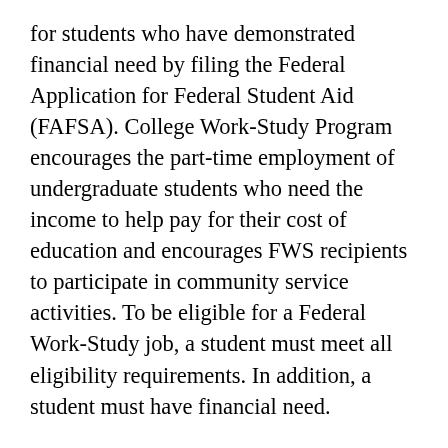for students who have demonstrated financial need by filing the Federal Application for Federal Student Aid (FAFSA). College Work-Study Program encourages the part-time employment of undergraduate students who need the income to help pay for their cost of education and encourages FWS recipients to participate in community service activities. To be eligible for a Federal Work-Study job, a student must meet all eligibility requirements. In addition, a student must have financial need.
Federal awards are listed on your award notification letter. The work study program is designed to help eligible students meet the costs of obtaining a higher education. The program encourages work related to the